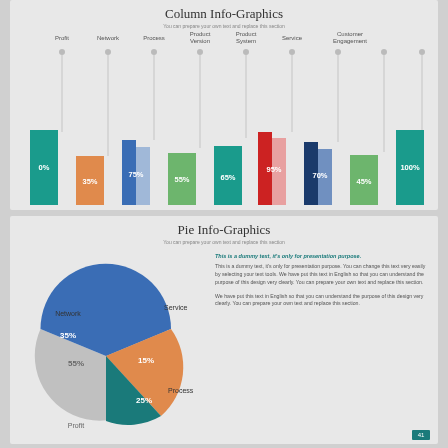Column Info-Graphics
You can prepare your own text and replace this section
[Figure (bar-chart): Column Info-Graphics]
Pie Info-Graphics
You can prepare your own text and replace this section
[Figure (pie-chart): Pie Info-Graphics]
This is a dummy text, it's only for presentation purpose.

This is a dummy text, it's only for presentation purpose. You can change this text very easily by selecting your text tools. We have put this text in English so that you can understand the purpose of this design very clearly. You can prepare your own text and replace this section.

We have put this text in English so that you can understand the purpose of this design very clearly. You can prepare your own text and replace this section.
41